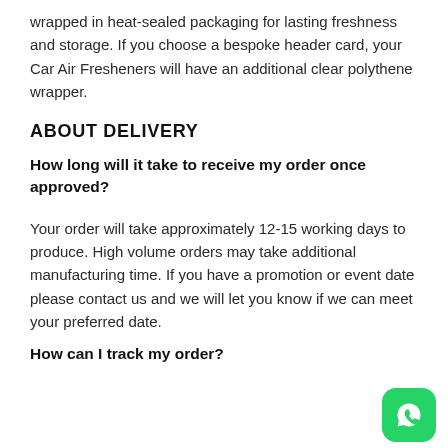wrapped in heat-sealed packaging for lasting freshness and storage. If you choose a bespoke header card, your Car Air Fresheners will have an additional clear polythene wrapper.
ABOUT DELIVERY
How long will it take to receive my order once approved?
Your order will take approximately 12-15 working days to produce. High volume orders may take additional manufacturing time. If you have a promotion or event date please contact us and we will let you know if we can meet your preferred date.
How can I track my order?
[Figure (logo): WhatsApp contact button icon, green rounded square with white phone/chat icon]